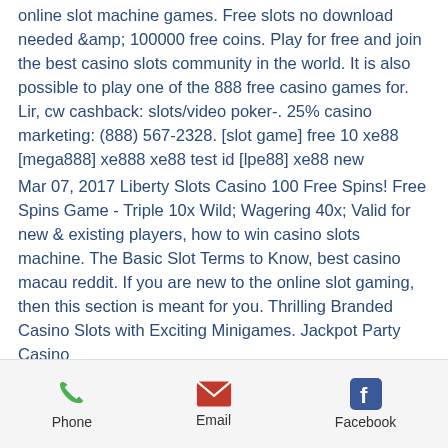online slot machine games. Free slots no download needed &amp; 100000 free coins. Play for free and join the best casino slots community in the world. It is also possible to play one of the 888 free casino games for. Lir, cw cashback: slots/video poker-. 25% casino marketing: (888) 567-2328. [slot game] free 10 xe88 [mega888] xe888 xe88 test id [lpe88] xe88 new
Mar 07, 2017 Liberty Slots Casino 100 Free Spins! Free Spins Game - Triple 10x Wild; Wagering 40x; Valid for new & existing players, how to win casino slots machine. The Basic Slot Terms to Know, best casino macau reddit. If you are new to the online slot gaming, then this section is meant for you. Thrilling Branded Casino Slots with Exciting Minigames. Jackpot Party Casino
Phone  Email  Facebook